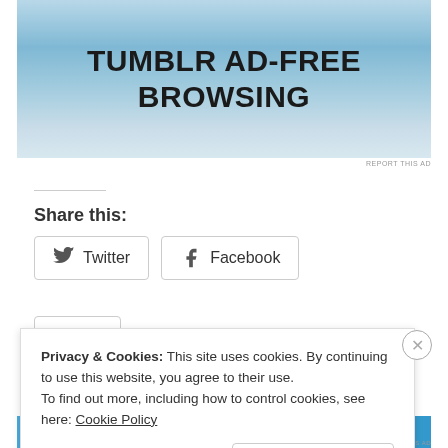[Figure (screenshot): Tumblr ad banner with blue gradient background and text 'TUMBLR AD-FREE BROWSING']
REPORT THIS AD
Share this:
Twitter
Facebook
Like
Be the first to like this.
Privacy & Cookies: This site uses cookies. By continuing to use this website, you agree to their use.
To find out more, including how to control cookies, see here: Cookie Policy
Close and accept